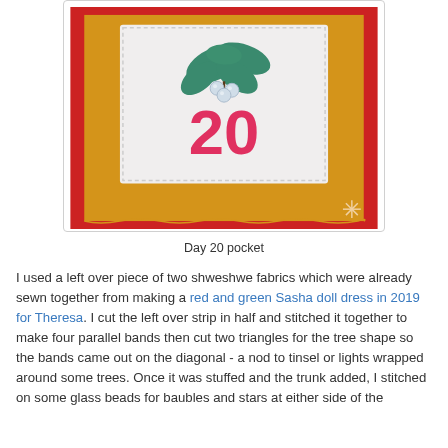[Figure (photo): Photo of a fabric advent calendar pocket labeled 'Day 20'. The pocket has red outer border, gold/yellow fabric square, and a white inner panel with an embroidered mistletoe motif and the number 20 in pink/red. A small snowflake embroidery is visible in the bottom right corner.]
Day 20 pocket
I used a left over piece of two shweshwe fabrics which were already sewn together from making a red and green Sasha doll dress in 2019 for Theresa. I cut the left over strip in half and stitched it together to make four parallel bands then cut two triangles for the tree shape so the bands came out on the diagonal - a nod to tinsel or lights wrapped around some trees. Once it was stuffed and the trunk added, I stitched on some glass beads for baubles and stars at either side of the